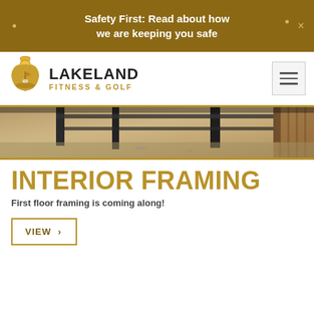Safety First: Read about how we are keeping you safe
[Figure (logo): Lakeland Fitness & Golf logo with kettlebell/golf icon]
[Figure (photo): Interior construction photo showing concrete floor and steel framing supports]
INTERIOR FRAMING
First floor framing is coming along!
VIEW ›